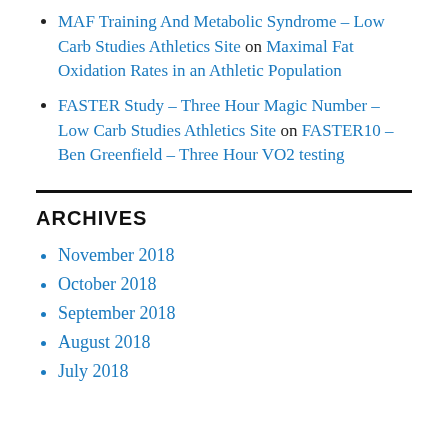MAF Training And Metabolic Syndrome – Low Carb Studies Athletics Site on Maximal Fat Oxidation Rates in an Athletic Population
FASTER Study – Three Hour Magic Number – Low Carb Studies Athletics Site on FASTER10 – Ben Greenfield – Three Hour VO2 testing
ARCHIVES
November 2018
October 2018
September 2018
August 2018
July 2018